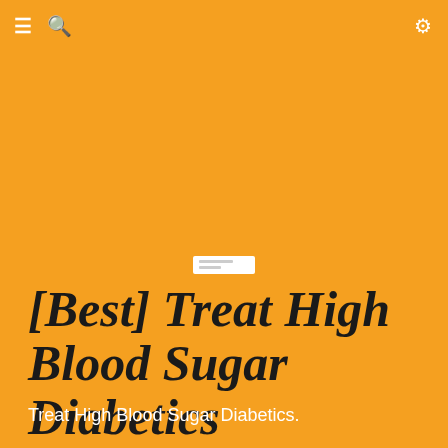≡ 🔍 ⚙
[Figure (illustration): Small white rectangular label/tag image centered in the orange background area]
[Best] Treat High Blood Sugar Diabetics
Treat High Blood Sugar Diabetics.